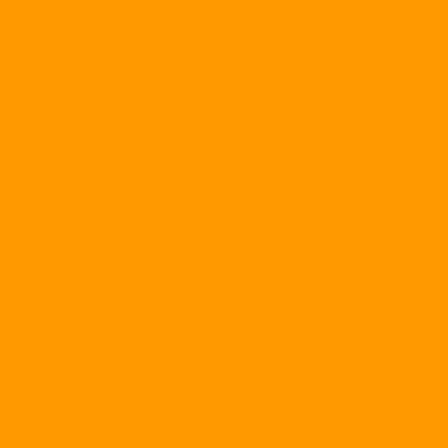He became only the second player in Hu... Heisman Trophy Award as the nation's to... honored as the Walter Camp Football Fo...
The Associated Press, Kodak, Walter Ca... Torretta first-team All-American. He also... Award, The Maxwell Trophy and the Dav...
Torretta was a unanimous selection as B... two consecutive seasons, the NCAA Tod... Leadership Award winner and Chevrolet...
Torretta finished his Miami career with el... career attempts (991), completions (555)... longest pass (99 yards to Horace Copela... most passing yards in a game (485 vs. S...
He was tapped into Iron Arrow, consider... has also been inducted into the College... Hall of Honor and was inducted into the... in 2003!
Posted at 07:41 PM | Permalink